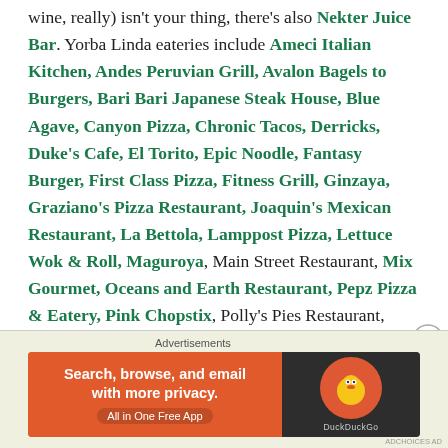wine, really) isn't your thing, there's also Nekter Juice Bar. Yorba Linda eateries include Ameci Italian Kitchen, Andes Peruvian Grill, Avalon Bagels to Burgers, Bari Bari Japanese Steak House, Blue Agave, Canyon Pizza, Chronic Tacos, Derricks, Duke's Cafe, El Torito, Epic Noodle, Fantasy Burger, First Class Pizza, Fitness Grill, Ginzaya, Graziano's Pizza Restaurant, Joaquin's Mexican Restaurant, La Bettola, Lamppost Pizza, Lettuce Wok & Roll, Maguroya, Main Street Restaurant, Mix Gourmet, Oceans and Earth Restaurant, Pepz Pizza & Eatery, Pink Chopstix, Polly's Pies Restaurant, Porky's Pizza, The Ranch Enchilada, Real Tacoz, The Red Thai Room, Stefano's, Supatra's Thai Bistro, Sushi Noguchi, Taco's San Pedro, Tampopo Sushi, Tan's
[Figure (other): DuckDuckGo advertisement banner: orange background with text 'Search, browse, and email with more privacy. All in One Free App' alongside DuckDuckGo duck logo on dark background]